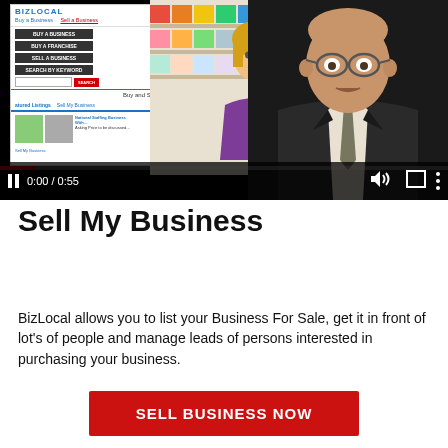[Figure (screenshot): A video player showing a BizLocal website screenshot with menu options (Buy a Business, Buy a Franchise, Sell a Business, Search by Keyword), colorful shelves in background, a woman in purple shirt, and a man in a suit in the foreground. Video controls show 0:00 / 0:55 with pause icon, volume, fullscreen and more options icons. Progress bar at bottom.]
Sell My Business
BizLocal allows you to list your Business For Sale, get it in front of lot's of people and manage leads of persons interested in purchasing your business.
SELL BUSINESS NOW